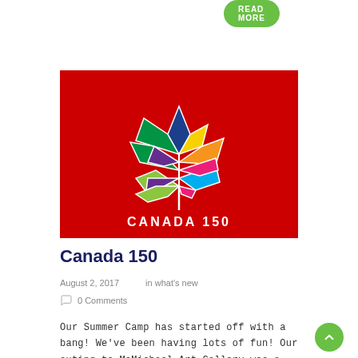[Figure (logo): Canada 150 logo on red background — multicolored maple leaf made of geometric triangular segments in green, blue, navy, yellow, orange, magenta, purple, lime, teal colors, with 'CANADA 150' text in white below the leaf]
Canada 150
August 2, 2017      in what's new
0 Comments
Our Summer Camp has started off with a bang! We've been having lots of fun! Our outing to McMichael Art Gallery was a great